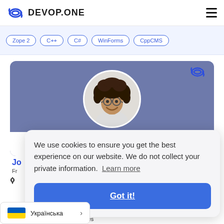DEVOP.ONE
Zope 2
C++
C#
WinForms
CppCMS
[Figure (photo): Profile photo of a person with curly hair and glasses, smiling, on a blue-grey card background with devop.one logo icon]
Jo
Fr
We use cookies to ensure you get the best experience on our website. We do not collect your private information. Learn more
Got it!
Українська
ring. He has built a mobile games